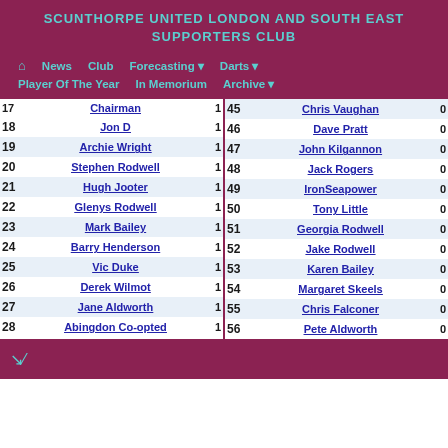SCUNTHORPE UNITED LONDON AND SOUTH EAST SUPPORTERS CLUB
Home | News | Club | Forecasting | Darts | Player Of The Year | In Memorium | Archive
| # | Name | Pts |
| --- | --- | --- |
| 17 | Chairman | 1 |
| 18 | Jon D | 1 |
| 19 | Archie Wright | 1 |
| 20 | Stephen Rodwell | 1 |
| 21 | Hugh Jooter | 1 |
| 22 | Glenys Rodwell | 1 |
| 23 | Mark Bailey | 1 |
| 24 | Barry Henderson | 1 |
| 25 | Vic Duke | 1 |
| 26 | Derek Wilmot | 1 |
| 27 | Jane Aldworth | 1 |
| 28 | Abingdon Co-opted | 1 |
| 45 | Chris Vaughan | 0 |
| 46 | Dave Pratt | 0 |
| 47 | John Kilgannon | 0 |
| 48 | Jack Rogers | 0 |
| 49 | IronSeapower | 0 |
| 50 | Tony Little | 0 |
| 51 | Georgia Rodwell | 0 |
| 52 | Jake Rodwell | 0 |
| 53 | Karen Bailey | 0 |
| 54 | Margaret Skeels | 0 |
| 55 | Chris Falconer | 0 |
| 56 | Pete Aldworth | 0 |